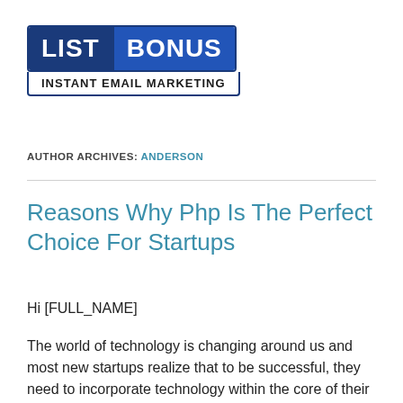[Figure (logo): List Bonus - Instant Email Marketing logo with blue banner design]
AUTHOR ARCHIVES: ANDERSON
Reasons Why Php Is The Perfect Choice For Startups
Hi [FULL_NAME]
The world of technology is changing around us and most new startups realize that to be successful, they need to incorporate technology within the core of their processes.